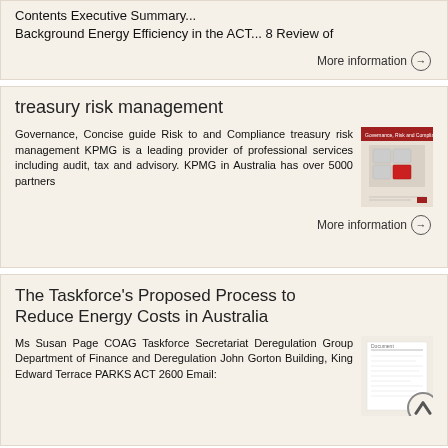Contents Executive Summary... Background Energy Efficiency in the ACT... 8 Review of
More information →
treasury risk management
Governance, Concise guide Risk to and Compliance treasury risk management KPMG is a leading provider of professional services including audit, tax and advisory. KPMG in Australia has over 5000 partners
[Figure (illustration): Book cover showing puzzle pieces with red piece for Governance, Risk and Compliance treasury risk management]
More information →
The Taskforce's Proposed Process to Reduce Energy Costs in Australia
Ms Susan Page COAG Taskforce Secretariat Deregulation Group Department of Finance and Deregulation John Gorton Building, King Edward Terrace PARKS ACT 2600 Email:
[Figure (illustration): Document page thumbnail with text content]